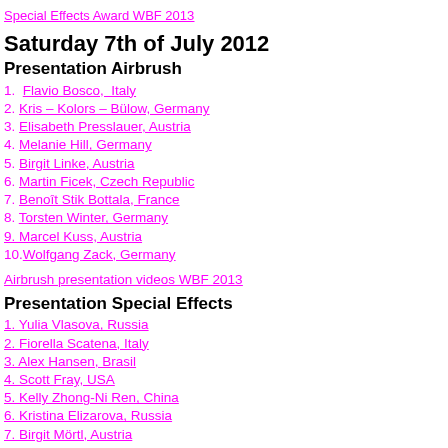Special Effects Award WBF 2013
Saturday 7th of July 2012
Presentation Airbrush
1. Flavio Bosco,  Italy
2. Kris – Kolors – Bülow, Germany
3. Elisabeth Presslauer, Austria
4. Melanie Hill, Germany
5. Birgit Linke, Austria
6. Martin Ficek, Czech Republic
7. Benoît Stik Bottala, France
8. Torsten Winter, Germany
9. Marcel Kuss, Austria
10.Wolfgang Zack, Germany
Airbrush presentation videos WBF 2013
Presentation Special Effects
1. Yulia Vlasova, Russia
2. Fiorella Scatena, Italy
3. Alex Hansen, Brasil
4. Scott Fray, USA
5. Kelly Zhong-Ni Ren, China
6. Kristina Elizarova, Russia
7. Birgit Mörtl, Austria